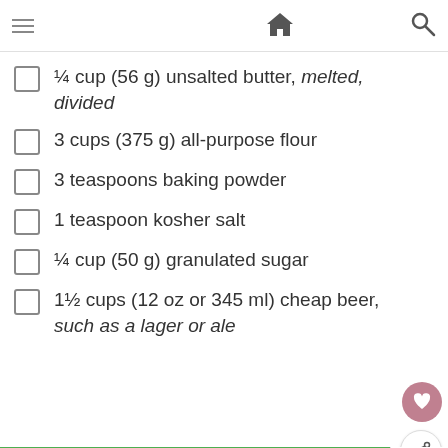Home | Search
¼ cup (56 g) unsalted butter, melted, divided
3 cups (375 g) all-purpose flour
3 teaspoons baking powder
1 teaspoon kosher salt
¼ cup (50 g) granulated sugar
1½ cups (12 oz or 345 ml) cheap beer, such as a lager or ale
[Figure (advertisement): Green ad banner: cookies for kids cancer your HOBBY is their HOPE]
WHAT'S NEXT → Zucchini Banana Bread
[Figure (advertisement): Bottom ad banner: Michelob ULTRA SUMMER THE SUPERIOR WAY Buy Now]